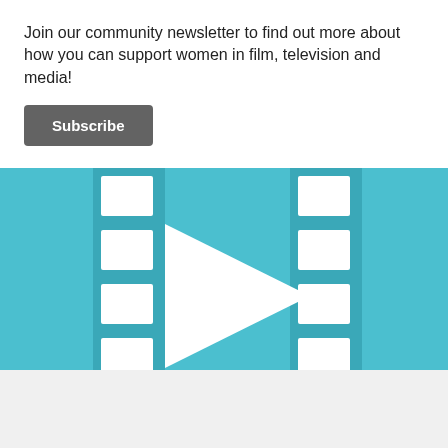Join our community newsletter to find out more about how you can support women in film, television and media!
Subscribe
[Figure (illustration): Film strip icon with a play button triangle in the center, rendered in teal/turquoise and white colors]
Advertisements
[Figure (screenshot): DuckDuckGo advertisement banner on orange/red background showing 'Search, browse, and email with more privacy. All in One Free App' with a phone showing the DuckDuckGo app]